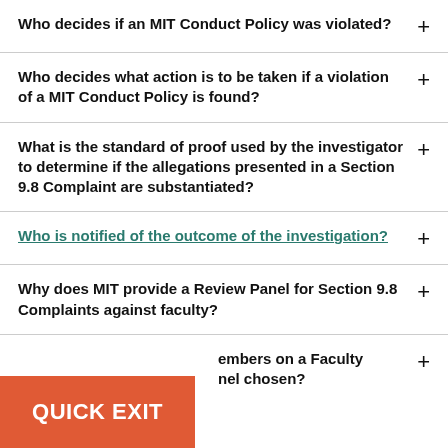Who decides if an MIT Conduct Policy was violated?
Who decides what action is to be taken if a violation of a MIT Conduct Policy is found?
What is the standard of proof used by the investigator to determine if the allegations presented in a Section 9.8 Complaint are substantiated?
Who is notified of the outcome of the investigation?
Why does MIT provide a Review Panel for Section 9.8 Complaints against faculty?
…embers on a Faculty …nel chosen?
QUICK EXIT